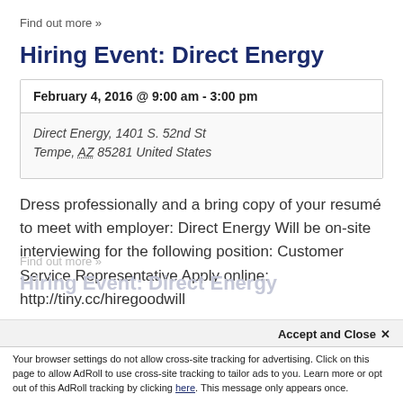Find out more »
Hiring Event: Direct Energy
| February 4, 2016 @ 9:00 am - 3:00 pm |
| Direct Energy, 1401 S. 52nd St
Tempe, AZ 85281 United States |
Dress professionally and a bring copy of your resumé to meet with employer: Direct Energy Will be on-site interviewing for the following position: Customer Service Representative Apply online: http://tiny.cc/hiregoodwill
Find out more »
Hiring Event: Direct Energy
Accept and Close ✕
Your browser settings do not allow cross-site tracking for advertising. Click on this page to allow AdRoll to use cross-site tracking to tailor ads to you. Learn more or opt out of this AdRoll tracking by clicking here. This message only appears once.